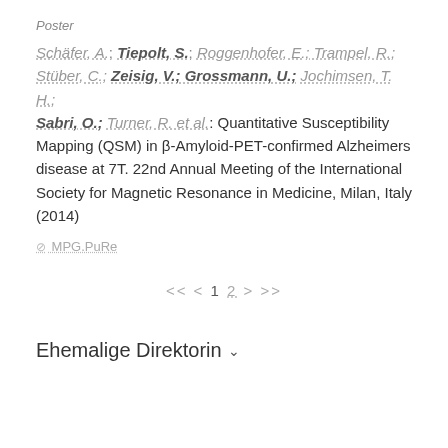Poster
Schäfer, A.; Tiepolt, S.; Roggenhofer, E.; Trampel, R.; Stüber, C.; Zeisig, V.; Grossmann, U.; Jochimsen, T. H.; Sabri, O.; Turner, R. et al.: Quantitative Susceptibility Mapping (QSM) in β-Amyloid-PET-confirmed Alzheimers disease at 7T. 22nd Annual Meeting of the International Society for Magnetic Resonance in Medicine, Milan, Italy (2014)
⊘ MPG.PuRe
<< < 1 2 > >>
Ehemalige Direktorin